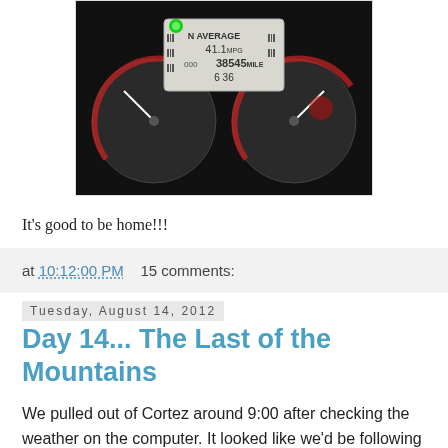[Figure (photo): Motorcycle dashboard/instrument cluster showing N AVERAGE display reading 41.1 MPG, odometer 38545 MILE, and 6 36, with two circular gauges visible on left and right with red markings]
It's good to be home!!!
at 10:12:00 PM   15 comments:
Tuesday, August 14, 2012
Day 14... The Last of the Mountains
We pulled out of Cortez around 9:00 after checking the weather on the computer. It looked like we'd be following behind a rain storm, and riding between more rain on each side. The plan worked good. We saw a number of west